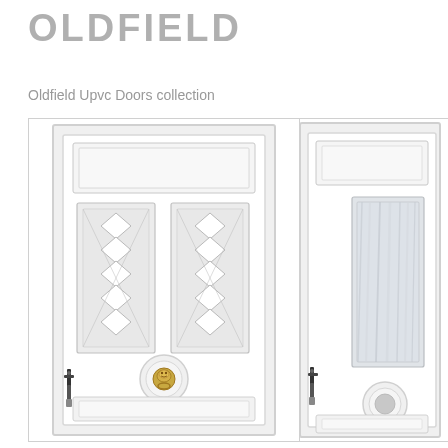OLDFIELD
Oldfield Upvc Doors collection
[Figure (photo): Two white UPVC panelled doors side by side. The left door features diamond-pattern leaded glass panels arranged vertically in two columns, decorative raised mouldings, a black lever handle, and a gold lion head door knocker. The right door is partially visible and features a tall vertical frosted/textured glass panel, black lever handle, and decorative raised mouldings at the bottom.]